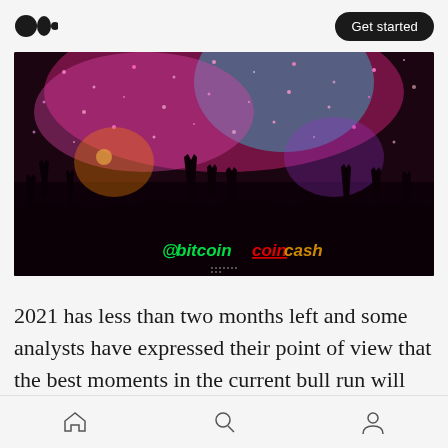Medium logo | Get started
[Figure (photo): Concert crowd with hands raised under colorful pink and teal lighting with confetti. A watermark reads '@bitcoincash' in the lower right corner.]
2021 has less than two months left and some analysts have expressed their point of view that the best moments in the current bull run will soon occur.
Home | Search | Profile navigation icons